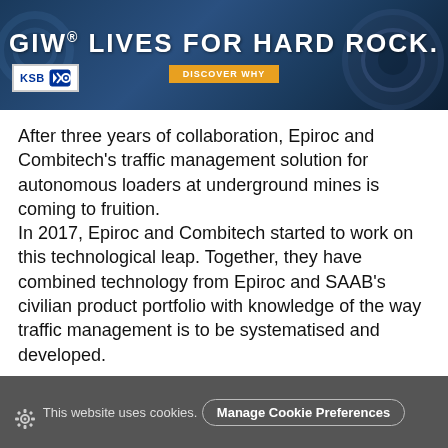[Figure (screenshot): Banner advertisement: 'GIW® LIVES FOR HARD ROCK.' with KSB logo and 'DISCOVER WHY' button on dark blue background with industrial machinery imagery]
After three years of collaboration, Epiroc and Combitech's traffic management solution for autonomous loaders at underground mines is coming to fruition.
In 2017, Epiroc and Combitech started to work on this technological leap. Together, they have combined technology from Epiroc and SAAB's civilian product portfolio with knowledge of the way traffic management is to be systematised and developed.
At the end of the same year, a prototype, or 'proof of concept', was delivered and evaluated in Epiroc's test mine outside Örebro, Sweden.
This website uses cookies. Manage Cookie Preferences